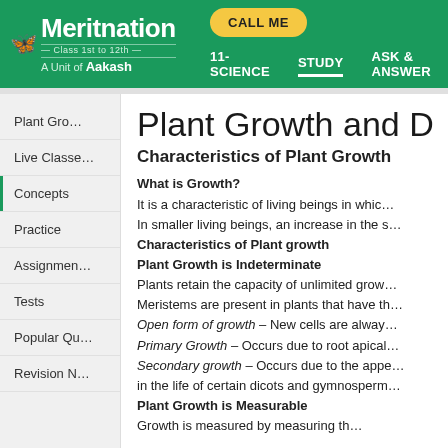Meritnation — Class 1st to 12th — A Unit of Aakash | CALL ME | 11-SCIENCE | STUDY | ASK & ANSWER
Plant Gro...
Live Classe...
Concepts
Practice
Assignmen...
Tests
Popular Qu...
Revision N...
Plant Growth and D...
Characteristics of Plant Growth
What is Growth?
It is a characteristic of living beings in whic...
In smaller living beings, an increase in the s...
Characteristics of Plant growth
Plant Growth is Indeterminate
Plants retain the capacity of unlimited grow...
Meristems are present in plants that have th...
Open form of growth – New cells are alway...
Primary Growth – Occurs due to root apical...
Secondary growth – Occurs due to the appe... in the life of certain dicots and gymnosperm...
Plant Growth is Measurable
Growth is measured by measuring th...